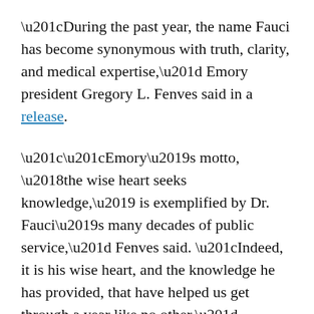“During the past year, the name Fauci has become synonymous with truth, clarity, and medical expertise,” Emory president Gregory L. Fenves said in a release.
““Emory’s motto, ‘the wise heart seeks knowledge,’ is exemplified by Dr. Fauci’s many decades of public service,” Fenves said. “Indeed, it is his wise heart, and the knowledge he has provided, that have helped us get through a year like no other.”
Fauci will also receive the Emory President’s Medal, “conferred upon distinguished university guests whose impact on the world has enhanced the prospect of peace or enriched cultural achievement,” according to the release.
Fauci, who is the director of the National Institute of